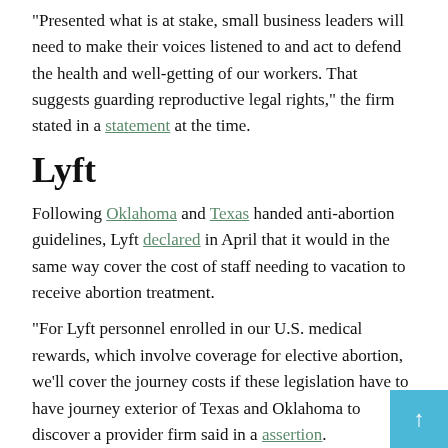"Presented what is at stake, small business leaders will need to make their voices listened to and act to defend the health and well-getting of our workers. That suggests guarding reproductive legal rights," the firm stated in a statement at the time.
Lyft
Following Oklahoma and Texas handed anti-abortion guidelines, Lyft declared in April that it would in the same way cover the cost of staff needing to vacation to receive abortion treatment.
"For Lyft personnel enrolled in our U.S. medical rewards, which involve coverage for elective abortion, we'll cover the journey costs if these legislation have to have journey exterior of Texas and Oklahoma to discover a provider firm said in a assertion.